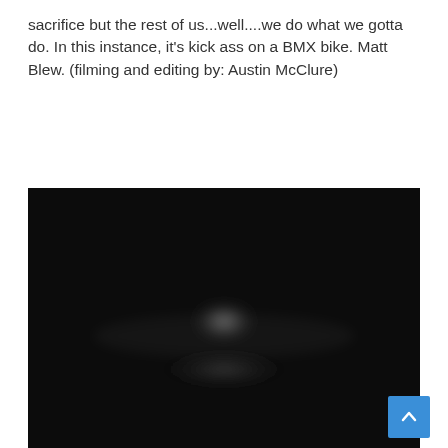sacrifice but the rest of us...well....we do what we gotta do. In this instance, it's kick ass on a BMX bike. Matt Blew. (filming and editing by: Austin McClure)
[Figure (photo): A very dark, nearly black video thumbnail/screenshot showing a blurred, faintly visible subject in the center against a dark background.]